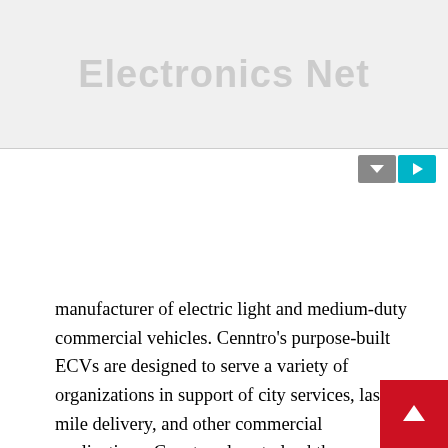[Figure (logo): Electronics Net logo banner with gray background and bold gray text]
manufacturer of electric light and medium-duty commercial vehicles. Cenntro's purpose-built ECVs are designed to serve a variety of organizations in support of city services, last-mile delivery, and other commercial applications. Cenntro plans to lead the transformation in the automotive industry through scalable, decentralized production, decentralized production, and smart driving solutions empowered by the Cenntro iChassis™. As of December 31, 2021, Cenntro has sold or put in service more than 3,700 vehicles in over 25 countries across North America, Europe, and Asia